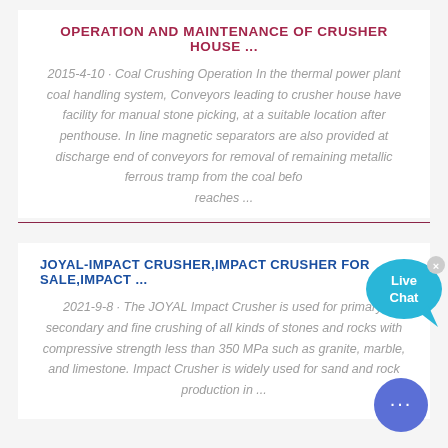OPERATION AND MAINTENANCE OF CRUSHER HOUSE ...
2015-4-10 · Coal Crushing Operation In the thermal power plant coal handling system, Conveyors leading to crusher house have facility for manual stone picking, at a suitable location after penthouse. In line magnetic separators are also provided at discharge end of conveyors for removal of remaining metallic ferrous tramp from the coal before it reaches ...
JOYAL-IMPACT CRUSHER,IMPACT CRUSHER FOR SALE,IMPACT ...
2021-9-8 · The JOYAL Impact Crusher is used for primary, secondary and fine crushing of all kinds of stones and rocks with compressive strength less than 350 MPa such as granite, marble, and limestone. Impact Crusher is widely used for sand and rock production in ...